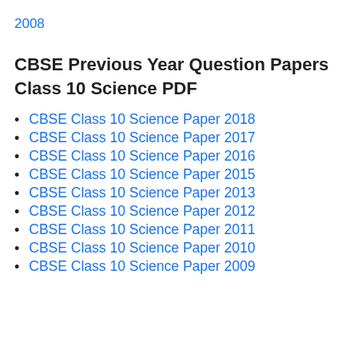2008
CBSE Previous Year Question Papers Class 10 Science PDF
CBSE Class 10 Science Paper 2018
CBSE Class 10 Science Paper 2017
CBSE Class 10 Science Paper 2016
CBSE Class 10 Science Paper 2015
CBSE Class 10 Science Paper 2013
CBSE Class 10 Science Paper 2012
CBSE Class 10 Science Paper 2011
CBSE Class 10 Science Paper 2010
CBSE Class 10 Science Paper 2009